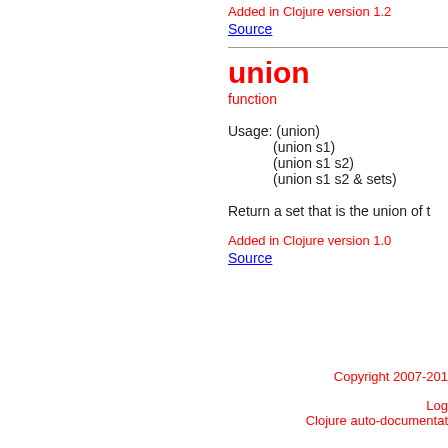Added in Clojure version 1.2
Source
union
function
Usage: (union)
        (union s1)
        (union s1 s2)
        (union s1 s2 & sets)
Return a set that is the union of t
Added in Clojure version 1.0
Source
Copyright 2007-201
Logo
Clojure auto-documentat